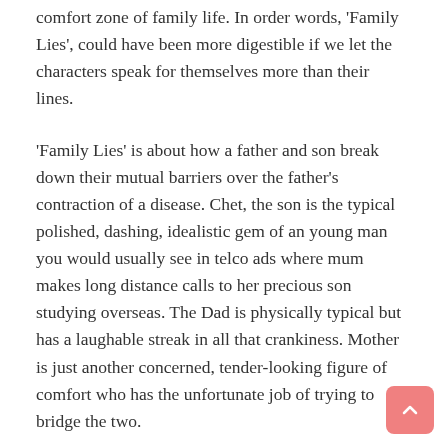comfort zone of family life. In order words, 'Family Lies', could have been more digestible if we let the characters speak for themselves more than their lines.
'Family Lies' is about how a father and son break down their mutual barriers over the father's contraction of a disease. Chet, the son is the typical polished, dashing, idealistic gem of an young man you would usually see in telco ads where mum makes long distance calls to her precious son studying overseas. The Dad is physically typical but has a laughable streak in all that crankiness. Mother is just another concerned, tender-looking figure of comfort who has the unfortunate job of trying to bridge the two.
From the point of his return, he is concerned yet feels handicapped by the thorny state of